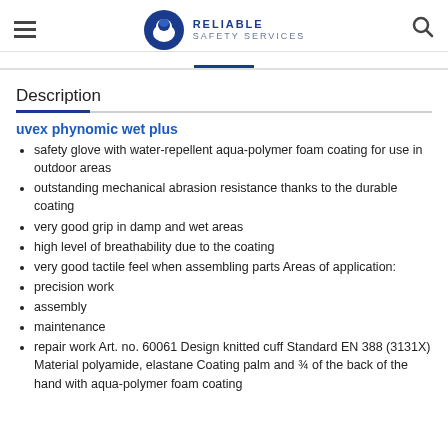Reliable Safety Services
Description
uvex phynomic wet plus
safety glove with water-repellent aqua-polymer foam coating for use in outdoor areas
outstanding mechanical abrasion resistance thanks to the durable coating
very good grip in damp and wet areas
high level of breathability due to the coating
very good tactile feel when assembling parts Areas of application:
precision work
assembly
maintenance
repair work Art. no. 60061 Design knitted cuff Standard EN 388 (3131X) Material polyamide, elastane Coating palm and ¾ of the back of the hand with aqua-polymer foam coating